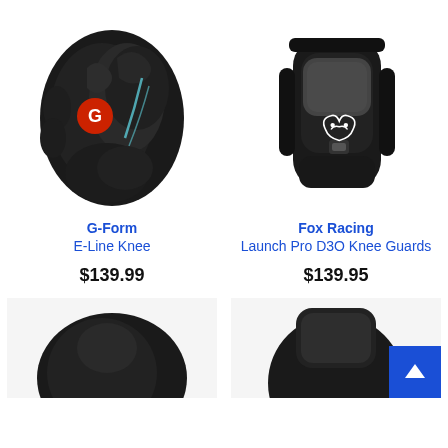[Figure (photo): G-Form E-Line Knee pads, black with red G logo and blue accents]
[Figure (photo): Fox Racing Launch Pro D3O Knee Guards, black with Fox logo]
G-Form
E-Line Knee
$139.99
Fox Racing
Launch Pro D3O Knee Guards
$139.95
[Figure (photo): Partial view of a knee pad, black with red accent, cropped at bottom]
[Figure (photo): Partial view of a knee pad, black, cropped at bottom]